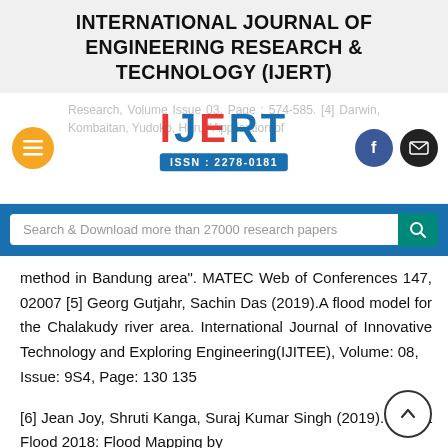INTERNATIONAL JOURNAL OF ENGINEERING RESEARCH & TECHNOLOGY (IJERT)
[Figure (logo): IJERT logo with ISSN: 2278-0181, with navigation hamburger menu, Facebook and email icons, and search bar]
method in Bandung area". MATEC Web of Conferences 147, 02007 [5] Georg Gutjahr, Sachin Das (2019).A flood model for the Chalakudy river area. International Journal of Innovative Technology and Exploring Engineering(IJITEE), Volume: 08, Issue: 9S4, Page: 130 135
[6] Jean Joy, Shruti Kanga, Suraj Kumar Singh (2019). Kerala Flood 2018: Flood Mapping by